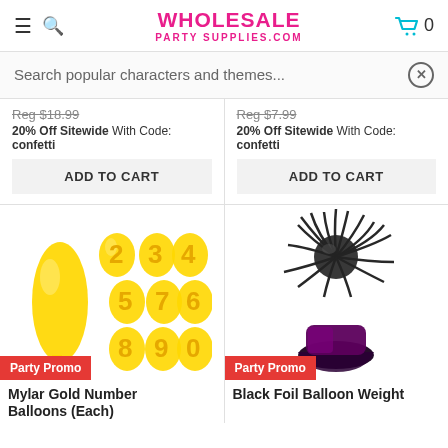WHOLESALE PARTY SUPPLIES.COM
Search popular characters and themes...
Reg $18.99
20% Off Sitewide With Code: confetti
ADD TO CART
Reg $7.99
20% Off Sitewide With Code: confetti
ADD TO CART
[Figure (photo): Gold mylar number balloons (1 through 9 and 0) on white background with Party Promo badge]
[Figure (photo): Black foil balloon weight on white background with Party Promo badge]
Mylar Gold Number Balloons (Each)
Black Foil Balloon Weight